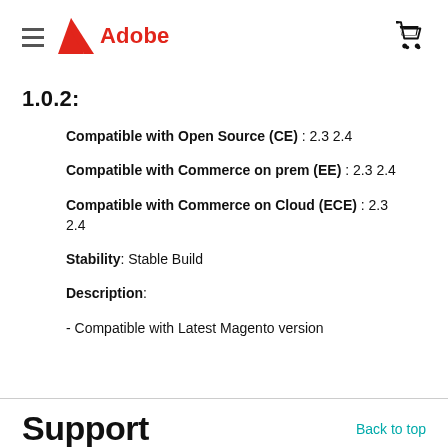Adobe (logo) | cart icon
1.0.2:
Compatible with Open Source (CE) : 2.3 2.4
Compatible with Commerce on prem (EE) : 2.3 2.4
Compatible with Commerce on Cloud (ECE) : 2.3 2.4
Stability: Stable Build
Description:
- Compatible with Latest Magento version
Support   Back to top